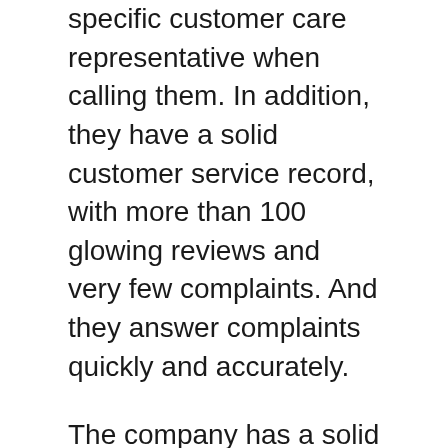specific customer care representative when calling them. In addition, they have a solid customer service record, with more than 100 glowing reviews and very few complaints. And they answer complaints quickly and accurately.
The company has a solid reputation, with positive customer reviews found on various sites such as BBB. Although there aren't many reviews online, they do have a few positive ones. These reviews point out the company's exceptional customer service and quick response time. Although there are a few negative reviews, most customers are happy with the service and believe that Northwest is worth the cost. To ensure the quality of service, read customer reviews